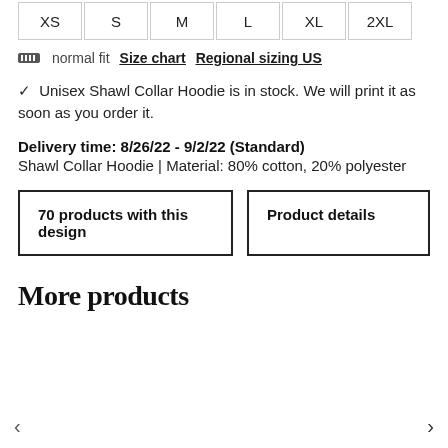XS  S  M  L  XL  2XL
normal fit   Size chart   Regional sizing US
✓ Unisex Shawl Collar Hoodie is in stock. We will print it as soon as you order it.
Delivery time: 8/26/22 - 9/2/22 (Standard)
Shawl Collar Hoodie | Material: 80% cotton, 20% polyester
70 products with this design
Product details
More products